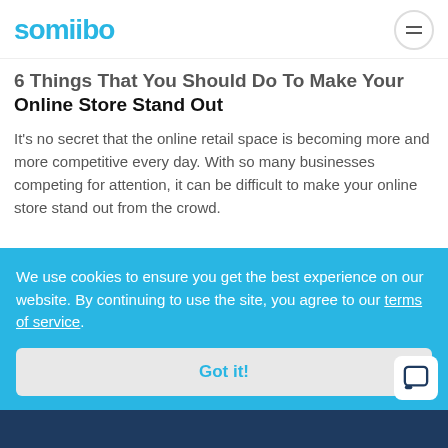somiibo
6 Things That You Should Do To Make Your Online Store Stand Out
It's no secret that the online retail space is becoming more and more competitive every day. With so many businesses competing for attention, it can be difficult to make your online store stand out from the crowd.
We use cookies to ensure you get the best experience on our website. By continuing to use the site, you agree to our terms of service.
Got it!
7 Apr 2022
Featured
6 Tips From The Pros On How To Grow Your Blog